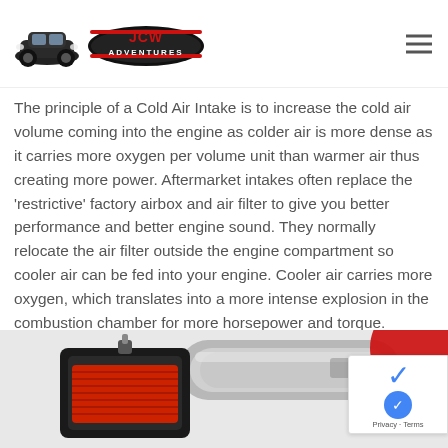JCW Adventures
The principle of a Cold Air Intake is to increase the cold air volume coming into the engine as colder air is more dense as it carries more oxygen per volume unit than warmer air thus creating more power. Aftermarket intakes often replace the ‘restrictive’ factory airbox and air filter to give you better performance and better engine sound. They normally relocate the air filter outside the engine compartment so cooler air can be fed into your engine. Cooler air carries more oxygen, which translates into a more intense explosion in the combustion chamber for more horsepower and torque.
[Figure (photo): Cold air intake product photo showing a red air filter in a black housing and a silver intake pipe, with a partial red circular logo element in the top right corner.]